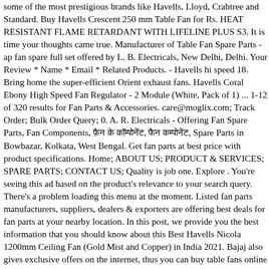some of the most prestigious brands like Havells, Lloyd, Crabtree and Standard. Buy Havells Crescent 250 mm Table Fan for Rs. HEAT RESISTANT FLAME RETARDANT WITH LIFELINE PLUS S3. It is time your thoughts came true. Manufacturer of Table Fan Spare Parts - ap fan spare full set offered by L. B. Electricals, New Delhi, Delhi. Your Review * Name * Email * Related Products. - Havells hi speed 18. Bring home the super-efficient Orient exhaust fans. Havells Coral Ebony High Speed Fan Regulator - 2 Module (White, Pack of 1) ... 1-12 of 320 results for Fan Parts & Accessories. care@moglix.com; Track Order; Bulk Order Query; 0. A. R. Electricals - Offering Fan Spare Parts, Fan Components, फ़ैन के कॉम्पोनेंट, फैन कम्पोनेंट, Spare Parts in Bowbazar, Kolkata, West Bengal. Get fan parts at best price with product specifications. Home; ABOUT US; PRODUCT & SERVICES; SPARE PARTS; CONTACT US; Quality is job one. Explore . You're seeing this ad based on the product's relevance to your search query. There's a problem loading this menu at the moment. Listed fan parts manufacturers, suppliers, dealers & exporters are offering best deals for fan parts at your nearby location. In this post, we provide you the best information that you should know about this Best Havells Nicola 1200mm Ceiling Fan (Gold Mist and Copper) in India 2021. Bajaj also gives exclusive offers on the internet, thus you can buy table fans online at lucrative discounts. 'Sharing is caring'. OLX provides the best Free Online Classified Advertising in India. 09887929550 9828278277 Rep: 1. £8.99 £ 8. The Havells Swing LX table fan scores high on performance and is also safe to use at home even if you have small children around. The table fan prices are economical compared to air conditioners and other cooling alternatives available in the market. Manufacturer of fan replacement parts in Havells Table Fan...